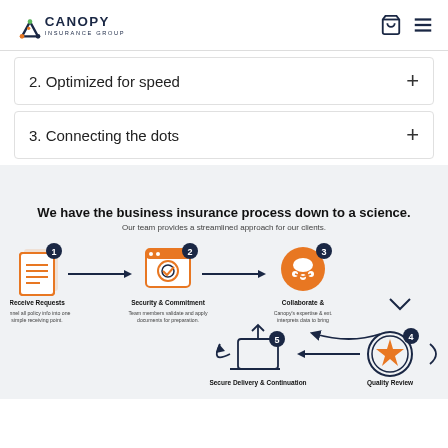Canopy Insurance Group
2. Optimized for speed
3. Connecting the dots
We have the business insurance process down to a science.
Our team provides a streamlined approach for our clients.
[Figure (infographic): 5-step insurance process infographic with icons: 1 Receive Requests, 2 Security & Commitment, 3 Collaborate, 4 Quality Review, 5 Secure Delivery & Continuation. Steps connected by arrows.]